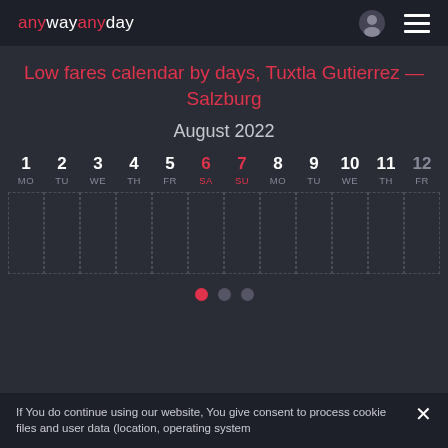anywayanyday
Low fares calendar by days, Tuxtla Gutierrez — Salzburg
August 2022
[Figure (other): Calendar strip showing days 1-12 of August 2022 with day labels MO, TU, WE, TH, FR, SA (weekend), SU (weekend), MO, TU, WE, TH, FR. Days 6 (SA) and 7 (SU) are highlighted in red. Each day has an empty dashed box below it. Three navigation dots below, first dot active (red).]
If You do continue using our website, You give consent to process cookie files and user data (location, operating system